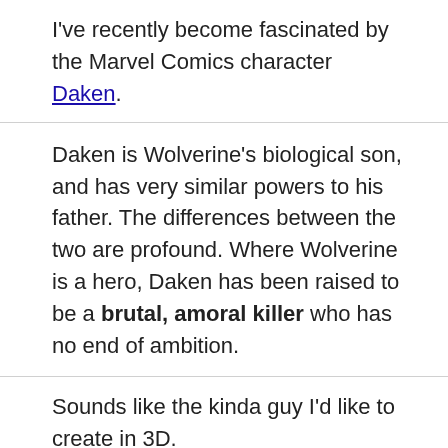I've recently become fascinated by the Marvel Comics character Daken.
Daken is Wolverine's biological son, and has very similar powers to his father. The differences between the two are profound. Where Wolverine is a hero, Daken has been raised to be a brutal, amoral killer who has no end of ambition.
Sounds like the kinda guy I'd like to create in 3D.
DERIVATIVE KNOCK-OFF CHARACTER
Although I hated this character at first for being so derivative, I eventually had to admit that I looked forward to his appearances. When he got his own